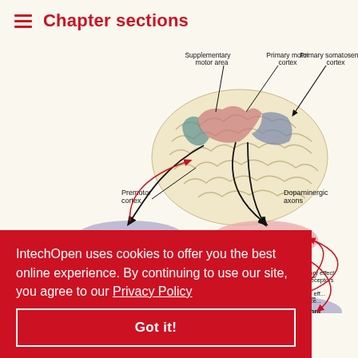Chapter sections
[Figure (illustration): Brain diagram showing motor cortex areas (Supplementary motor area, Primary motor cortex, Primary somatosensory cortex, Premotor cortex), connected by arrows to subcortical structures (VA/VL thalamus, Putamen, Globus pallidus externa, Globus pallidus interna, Substantia nigra). Dopaminergic axons shown with red lines. Excitatory effect on D1 receptors and Inhibitory effect on D2 receptors labeled.]
IntechOpen uses cookies to offer you the best online experience. By continuing to use our site, you agree to our Privacy Policy
Got it!